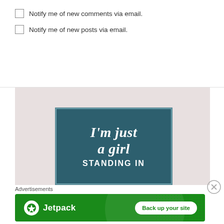Notify me of new comments via email.
Notify me of new posts via email.
[Figure (illustration): Sign with teal background reading 'I'm just a girl STANDING IN' in white lettering, set against a light pink/grey background]
Advertisements
[Figure (logo): Jetpack advertisement banner with green background, Jetpack logo and lightning bolt icon on left, 'Back up your site' button on right]